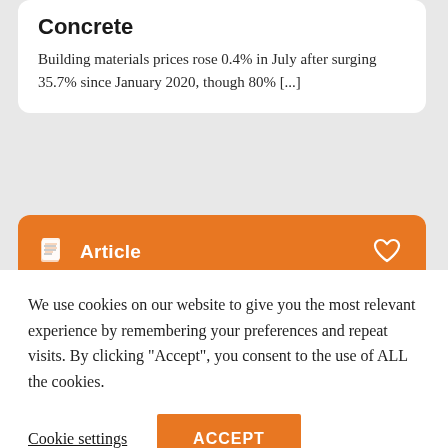Concrete
Building materials prices rose 0.4% in July after surging 35.7% since January 2020, though 80% [...]
Article
Civil Construction
What a recession would look like for construction
We use cookies on our website to give you the most relevant experience by remembering your preferences and repeat visits. By clicking "Accept", you consent to the use of ALL the cookies.
Cookie settings
ACCEPT